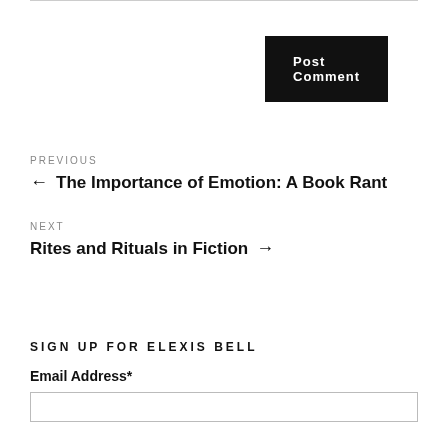Post Comment
PREVIOUS
← The Importance of Emotion: A Book Rant
NEXT
Rites and Rituals in Fiction →
SIGN UP FOR ELEXIS BELL
Email Address*